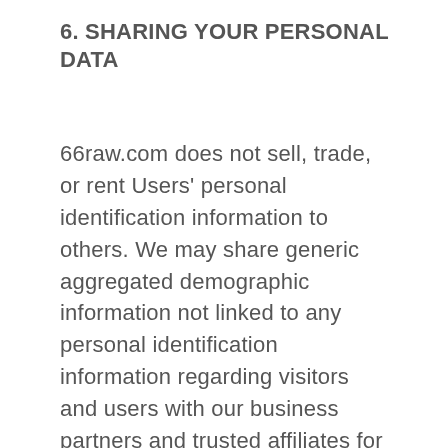6. SHARING YOUR PERSONAL DATA
66raw.com does not sell, trade, or rent Users' personal identification information to others. We may share generic aggregated demographic information not linked to any personal identification information regarding visitors and users with our business partners and trusted affiliates for the purposes outlined above.